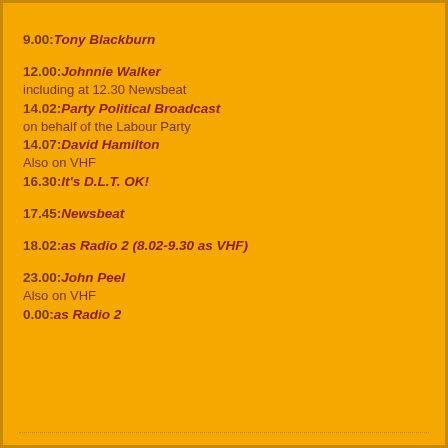9.00: Tony Blackburn
12.00: Johnnie Walker
including at 12.30 Newsbeat
14.02: Party Political Broadcast
on behalf of the Labour Party
14.07: David Hamilton
Also on VHF
16.30: It's D.L.T. OK!
17.45: Newsbeat
18.02: as Radio 2 (8.02-9.30 as VHF)
23.00: John Peel
Also on VHF
0.00: as Radio 2